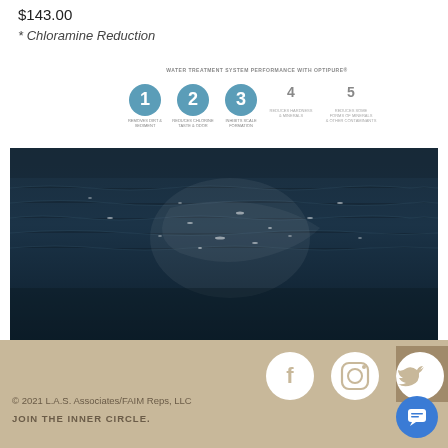$143.00
* Chloramine Reduction
[Figure (infographic): Water treatment system performance steps with Optipure: numbered circles 1-3 highlighted in blue, steps 4-5 in grey text. Title: WATER TREATMENT SYSTEM PERFORMANCE WITH OPTIPURE. Labels: 1-Removes dirt & sediment, 2-Reduces chlorine taste & odor, 3-Inhibits scale formation, 4-Reduces hardness & minerals, 5-Reduces some forms of minerals & other contaminants]
[Figure (photo): Dark deep blue ocean water surface with ripples and light reflections]
[Figure (infographic): Footer with tan/beige background containing Facebook, Instagram, and Twitter social media icons as white circles. Scroll-to-top button in darker brown. Chat bubble button in blue. Copyright text: © 2021 L.A.S. Associates/FAIM Reps, LLC. JOIN THE INNER CIRCLE.]